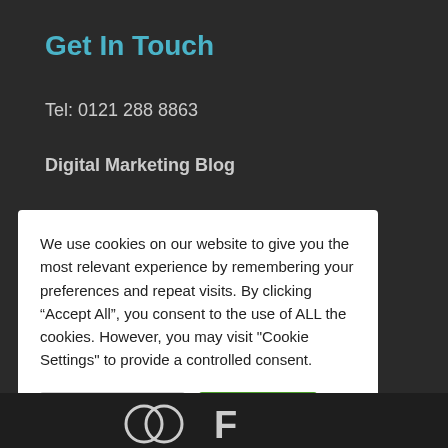Get In Touch
Tel: 0121 288 8863
Digital Marketing Blog
Not Another Marketing Newsletter
We use cookies on our website to give you the most relevant experience by remembering your preferences and repeat visits. By clicking “Accept All”, you consent to the use of ALL the cookies. However, you may visit "Cookie Settings" to provide a controlled consent.
[Figure (other): Logo/footer bar at bottom of page with partial logo visible]